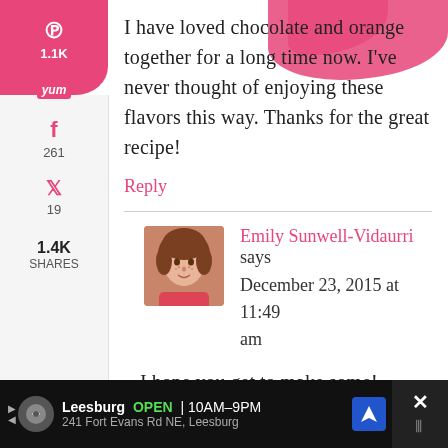I have loved chocolate and orange together for a long time now. I've never thought of enjoying these flavors this way. Thanks for the great recipe!
Reply
Emily Sunwell-Vidaurri says
December 23, 2015 at 11:49 am
I hope you get to make some! They're so delicious 🙂
Leesburg OPEN 10AM–9PM
241 Fort Evans Rd NE, Leesburg